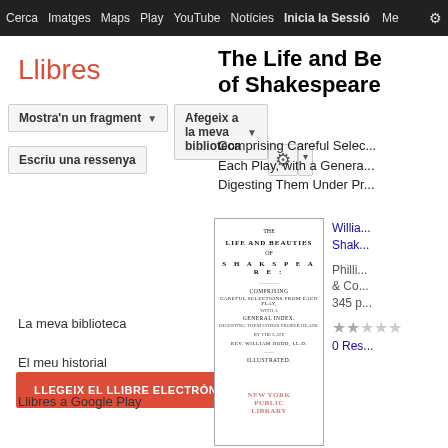Cerca  Imatges  Maps  Play  YouTube  Notícies  Inicia la Sessió  ⚙
Llibres
Mostra'n un fragment ▼
Afegeix a la meva biblioteca ▼
Escriu una ressenya
LLEGEIX EL LLIBRE ELECTRÒNIC
Obtén una còpia impresa del llibre ▼
La meva biblioteca
El meu historial
Llibres a Google Play
The Life and Beauties of Shakespeare
Comprising Careful Selections from Each Play, with a General Index Digesting Them Under Pr...
[Figure (photo): Old book cover page showing 'The Life and Beauties of Shakspeare' with New York Public Library stamp]
William Shakespeare
Phillips & Co. 345 p.
★★ 0 Ressenyes